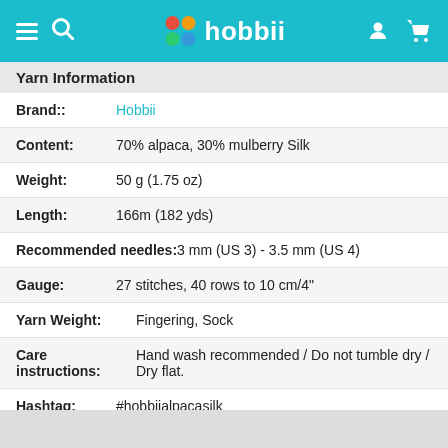hobbii
Yarn Information
Brand:: Hobbii
Content: 70% alpaca, 30% mulberry Silk
Weight: 50 g (1.75 oz)
Length: 166m (182 yds)
Recommended needles: 3 mm (US 3) - 3.5 mm (US 4)
Gauge: 27 stitches, 40 rows to 10 cm/4"
Yarn Weight: Fingering, Sock
Care instructions: Hand wash recommended / Do not tumble dry / Dry flat.
Hashtag: #hobbiialpacasilk
You may also like